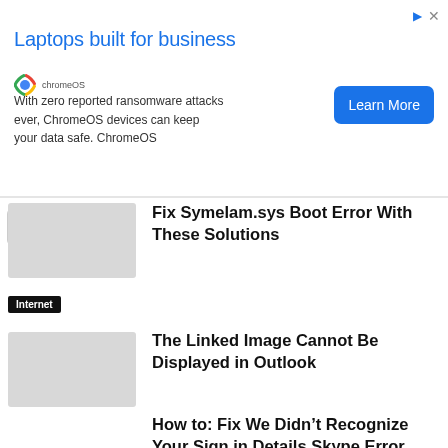[Figure (screenshot): ChromeOS advertisement banner with 'Laptops built for business' headline, body text about zero ransomware attacks, and a 'Learn More' button]
Fix Symelam.sys Boot Error With These Solutions
Internet
Something Went Wrong Skype Error? We Got Fixes for It
Internet
The Linked Image Cannot Be Displayed in Outlook
Business of Brand
How to: Fix We Didn't Recognize Your Sign in Details Skype Error